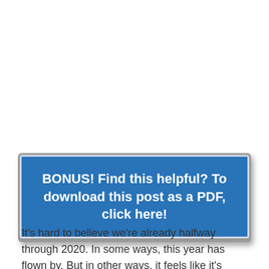[Figure (other): Blue call-to-action button with white text: BONUS! Find this helpful? To download this post as a PDF, click here!]
It's hard to believe we're already halfway through 2020. In some ways, this year has flown by. But in other ways, it feels like it's